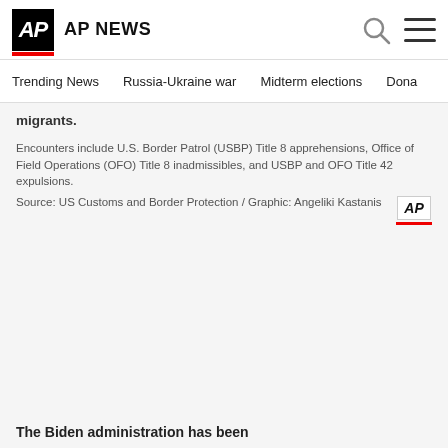AP NEWS
Trending News   Russia-Ukraine war   Midterm elections   Dona
migrants.
Encounters include U.S. Border Patrol (USBP) Title 8 apprehensions, Office of Field Operations (OFO) Title 8 inadmissibles, and USBP and OFO Title 42 expulsions.
Source: US Customs and Border Protection / Graphic: Angeliki Kastanis
The Biden administration has been...